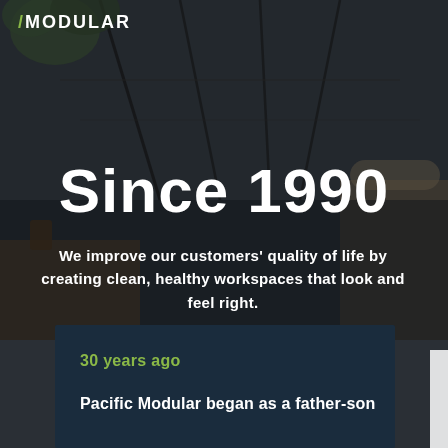[Figure (photo): Dark office interior background with geometric ceiling elements, chairs, plants, and a blurred workspace environment]
/MODULAR
Since 1990
We improve our customers' quality of life by creating clean, healthy workspaces that look and feel right.
30 years ago
Pacific Modular began as a father-son